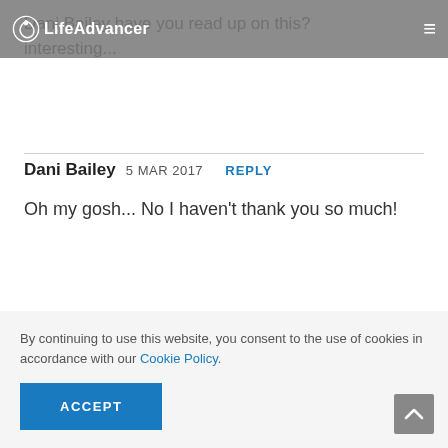LifeAdvancer
Dani Bailey have you read up on this? interesting...
Dani Bailey  5 MAR 2017  REPLY
Oh my gosh... No I haven't thank you so much!
By continuing to use this website, you consent to the use of cookies in accordance with our Cookie Policy.
ACCEPT